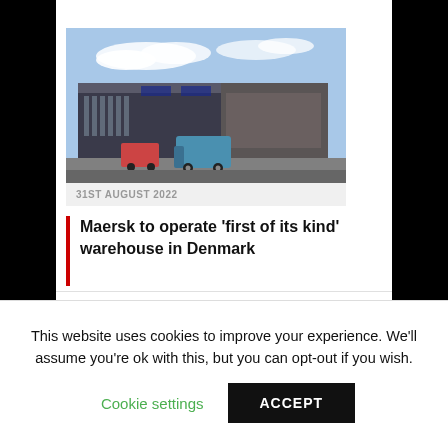[Figure (photo): Photo of a modern industrial warehouse building with blue accents and delivery vans parked outside, under a partly cloudy sky]
31ST AUGUST 2022
Maersk to operate ‘first of its kind’ warehouse in Denmark
[Figure (logo): ROBOTICS AND AUTOMATION NEWS logo with a red letter D]
This website uses cookies to improve your experience. We'll assume you're ok with this, but you can opt-out if you wish.
Cookie settings   ACCEPT